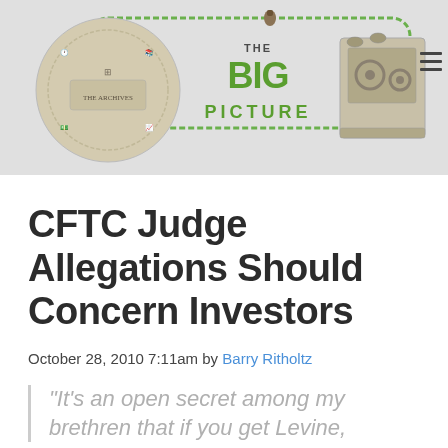[Figure (logo): The Big Picture blog logo — decorative circular illustration with financial/mechanical imagery and 'THE BIG PICTURE' text in green, with a key-shaped border design and mechanical press on the right. Hamburger menu icon top right.]
CFTC Judge Allegations Should Concern Investors
October 28, 2010 7:11am by Barry Ritholtz
“It’s an open secret among my brethren that if you get Levine,